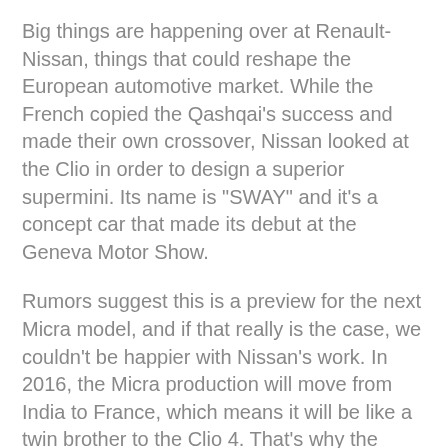Big things are happening over at Renault-Nissan, things that could reshape the European automotive market. While the French copied the Qashqai's success and made their own crossover, Nissan looked at the Clio in order to design a superior supermini. Its name is "SWAY" and it's a concept car that made its debut at the Geneva Motor Show.
Rumors suggest this is a preview for the next Micra model, and if that really is the case, we couldn't be happier with Nissan's work. In 2016, the Micra production will move from India to France, which means it will be like a twin brother to the Clio 4. That's why the Sway Concept is so much larger and better designed.
How do we know it's a supermini-like Micra successor and not a Maxima? Because the Sway Concept is 4010 mm long, 1780 mm wide, 1385 mm tall and comes with a 2570 mm wheelbase. Cut away the oversized front wings and you have